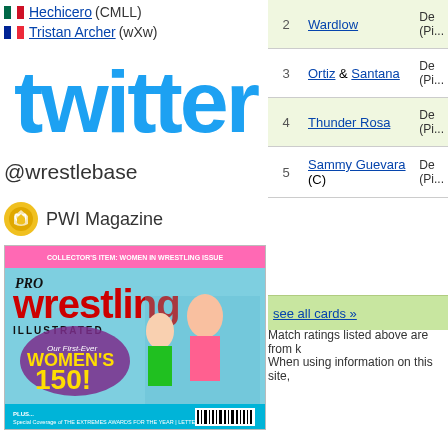🇲🇽 Hechicero (CMLL)
🇫🇷 Tristan Archer (wXw)
[Figure (logo): Twitter logo in blue]
@wrestlebase
PWI Magazine
[Figure (photo): Pro Wrestling Illustrated magazine cover - Women's 150 issue]
| # | Name | Result |
| --- | --- | --- |
| 2 | Wardlow | Def. (Pi... |
| 3 | Ortiz & Santana | Def. (Pi... |
| 4 | Thunder Rosa | Def. (Pi... |
| 5 | Sammy Guevara (C) | Def. (Pi... |
see all cards »
Match ratings listed above are from k
When using information on this site,